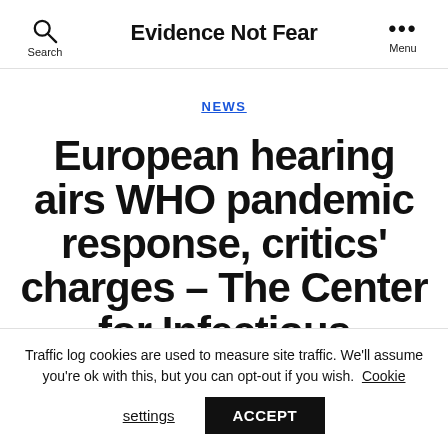Evidence Not Fear
NEWS
European hearing airs WHO pandemic response, critics' charges – The Center for Infectious Disease
Traffic log cookies are used to measure site traffic. We'll assume you're ok with this, but you can opt-out if you wish. Cookie settings ACCEPT